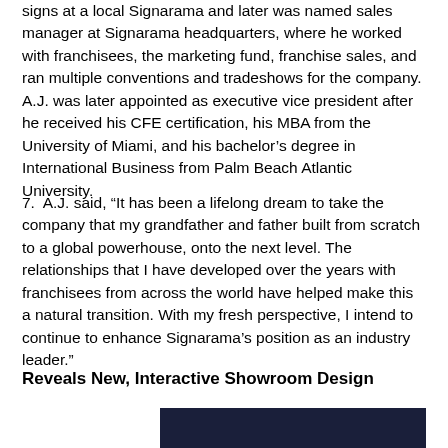signs at a local Signarama and later was named sales manager at Signarama headquarters, where he worked with franchisees, the marketing fund, franchise sales, and ran multiple conventions and tradeshows for the company. A.J. was later appointed as executive vice president after he received his CFE certification, his MBA from the University of Miami, and his bachelor's degree in International Business from Palm Beach Atlantic University.
7.  A.J. said, “It has been a lifelong dream to take the company that my grandfather and father built from scratch to a global powerhouse, onto the next level. The relationships that I have developed over the years with franchisees from across the world have helped make this a natural transition. With my fresh perspective, I intend to continue to enhance Signarama’s position as an industry leader.”
Reveals New, Interactive Showroom Design
[Figure (photo): Dark navy/dark blue image block, partially visible at bottom of page]